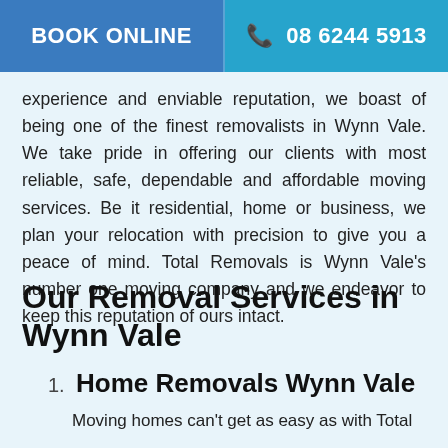BOOK ONLINE | 08 6244 5913
experience and enviable reputation, we boast of being one of the finest removalists in Wynn Vale. We take pride in offering our clients with most reliable, safe, dependable and affordable moving services. Be it residential, home or business, we plan your relocation with precision to give you a peace of mind. Total Removals is Wynn Vale's number one moving company and we endeavor to keep this reputation of ours intact.
Our Removal Services in Wynn Vale
Home Removals Wynn Vale
Moving homes can't get as easy as with Total